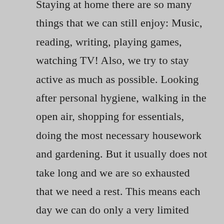Staying at home there are so many things that we can still enjoy: Music, reading, writing, playing games, watching TV! Also, we try to stay active as much as possible. Looking after personal hygiene, walking in the open air, shopping for essentials, doing the most necessary housework and gardening. But it usually does not take long and we are so exhausted that we need a rest. This means each day we can do only a very limited amount of work. That means, every day we have to cut back on something that we would have liked to have done. If we decide to do something, something else that might be just as important, cannot be done that day. Every day we seem to have a bit less time. How is that possible? The question is, what is really most important to us to be able to do?